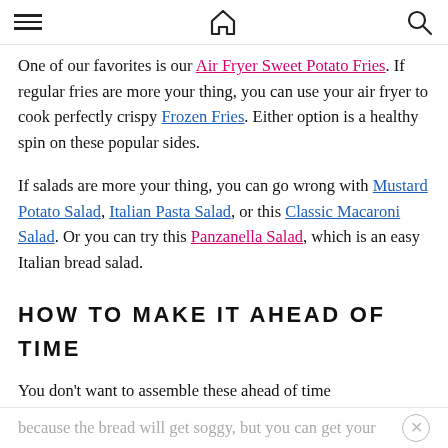≡  🏠  🔍
One of our favorites is our Air Fryer Sweet Potato Fries. If regular fries are more your thing, you can use your air fryer to cook perfectly crispy Frozen Fries. Either option is a healthy spin on these popular sides.
If salads are more your thing, you can go wrong with Mustard Potato Salad, Italian Pasta Salad, or this Classic Macaroni Salad. Or you can try this Panzanella Salad, which is an easy Italian bread salad.
HOW TO MAKE IT AHEAD OF TIME
You don't want to assemble these ahead of time because the bread will get soggy, but you can get your